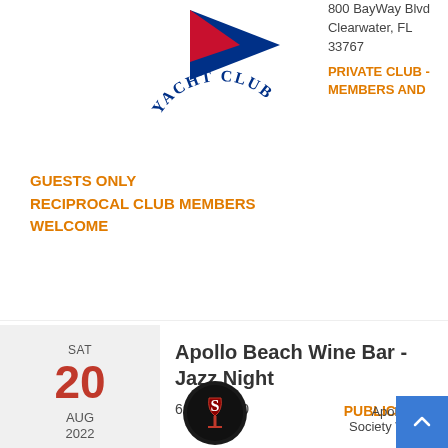[Figure (logo): Yacht Club pennant logo with red and blue sailing flag and text 'YACHT CLUB' in blue arc]
800 BayWay Blvd
Clearwater, FL
33767
PRIVATE CLUB - MEMBERS AND GUESTS ONLY RECIPROCAL CLUB MEMBERS WELCOME
SAT
20
AUG
2022
Apollo Beach Wine Bar - Jazz Night
6:00 to 9:00
PUBLIC VENUE
Apollo Beach
Society Wine B...
[Figure (logo): Apollo Beach Society Wine Bar circular logo with wine glass and letter S]